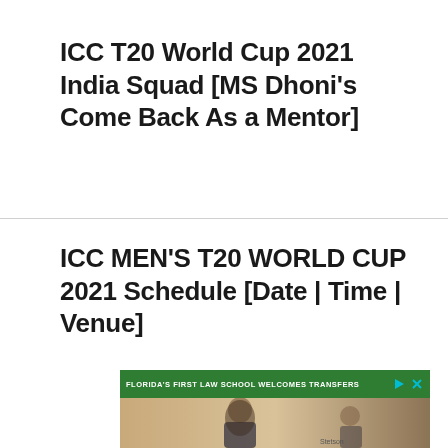ICC T20 World Cup 2021 India Squad [MS Dhoni's Come Back As a Mentor]
ICC MEN'S T20 WORLD CUP 2021 Schedule [Date | Time | Venue]
[Figure (photo): Advertisement banner from Stetson Law school reading 'Florida's First Law School Welcomes Transfers' with green header bar, play/close icons, and a photo of a female law student in a courtroom setting.]